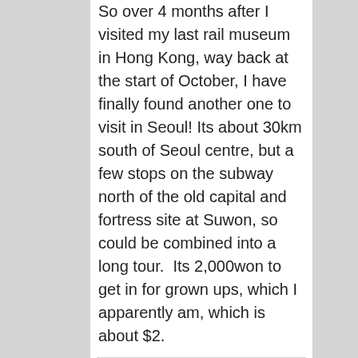So over 4 months after I visited my last rail museum in Hong Kong, way back at the start of October, I have finally found another one to visit in Seoul! Its about 30km south of Seoul centre, but a few stops on the subway north of the old capital and fortress site at Suwon, so could be combined into a long tour.  Its 2,000won to get in for grown ups, which I apparently am, which is about $2.
[Figure (photo): Placeholder image box with a small circle icon and caption 'Trains!']
And it's quite a good one.  The